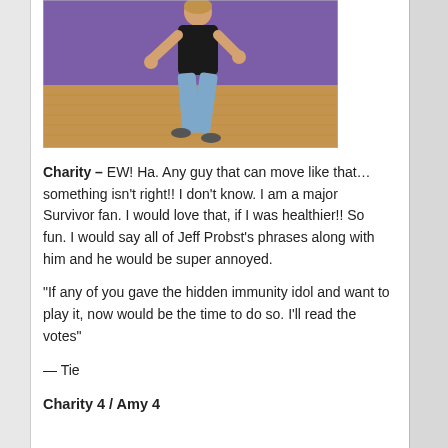[Figure (photo): Person in black tank top and light blue jeans dancing/moving in a dance studio with purple and wooden flooring background]
Charity – EW! Ha. Any guy that can move like that… something isn't right!! I don't know. I am a major Survivor fan. I would love that, if I was healthier!! So fun. I would say all of Jeff Probst's phrases along with him and he would be super annoyed.
“If any of you gave the hidden immunity idol and want to play it, now would be the time to do so. I’ll read the votes”
— Tie
Charity 4 / Amy 4